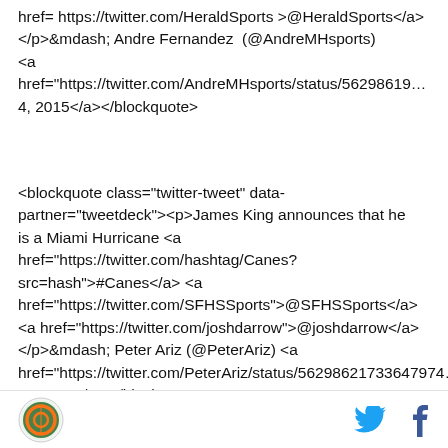href= https://twitter.com/HeraldSports >@HeraldSports</a></p>&mdash; Andre Fernandez (@AndreMHsports) <a href="https://twitter.com/AndreMHsports/status/56298619…4, 2015</a></blockquote>
<blockquote class="twitter-tweet" data-partner="tweetdeck"><p>James King announces that he is a Miami Hurricane <a href="https://twitter.com/hashtag/Canes?src=hash">#Canes</a> <a href="https://twitter.com/SFHSSports">@SFHSSports</a> <a href="https://twitter.com/joshdarrow">@joshdarrow</a></p>&mdash; Peter Ariz (@PeterAriz) <a href="https://twitter.com/PeterAriz/status/56298621733647974, 2015</a></blockquote>
logo | twitter | facebook